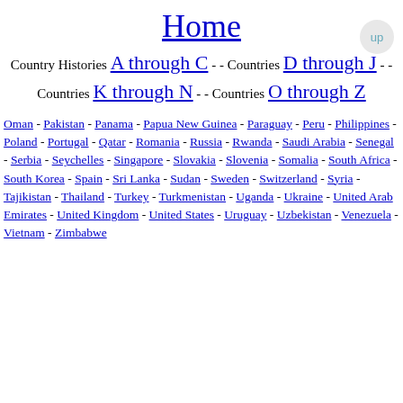Home
Country Histories A through C - - Countries D through J - - Countries K through N - - Countries O through Z
Oman - Pakistan - Panama - Papua New Guinea - Paraguay - Peru - Philippines - Poland - Portugal - Qatar - Romania - Russia - Rwanda - Saudi Arabia - Senegal - Serbia - Seychelles - Singapore - Slovakia - Slovenia - Somalia - South Africa - South Korea - Spain - Sri Lanka - Sudan - Sweden - Switzerland - Syria - Tajikistan - Thailand - Turkey - Turkmenistan - Uganda - Ukraine - United Arab Emirates - United Kingdom - United States - Uruguay - Uzbekistan - Venezuela - Vietnam - Zimbabwe